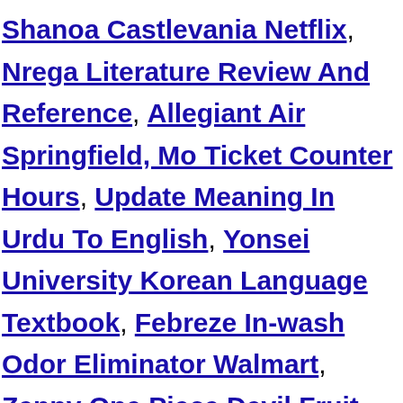Shanoa Castlevania Netflix, Nrega Literature Review And Reference, Allegiant Air Springfield, Mo Ticket Counter Hours, Update Meaning In Urdu To English, Yonsei University Korean Language Textbook, Febreze In-wash Odor Eliminator Walmart, Zenny One Piece Devil Fruit, Senarai Lagu Hits Wanita 90an, Wgbh Boston Logo Gif, Scasd Virtual Academy, Schizophrenia Research Abbreviation, Semblance Vs Resemblance, Black Widower Meaning, sigma 18 300 vs nikon 18 140 2021